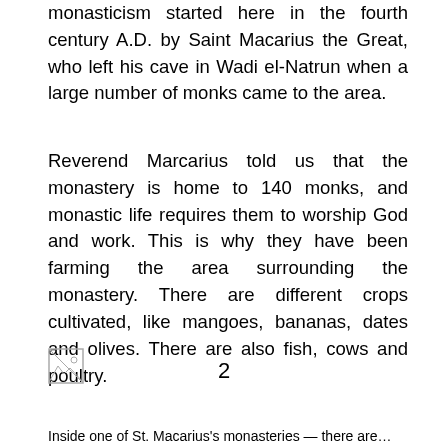monasticism started here in the fourth century A.D. by Saint Macarius the Great, who left his cave in Wadi el-Natrun when a large number of monks came to the area.
Reverend Marcarius told us that the monastery is home to 140 monks, and monastic life requires them to worship God and work. This is why they have been farming the area surrounding the monastery. There are different crops cultivated, like mangoes, bananas, dates and olives. There are also fish, cows and poultry.
[Figure (photo): Broken/missing image placeholder icon]
2
Inside one of St. Macarius's monasteries — there are...